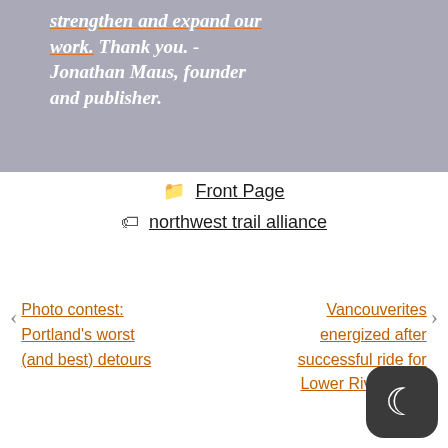strengthen and expand our work. Thank you. - Jonathan Maus, founder and publisher.
Front Page
northwest trail alliance
Photo contest: Portland's worst (and best) detours
Vancouverites energized after successful ride for Lower River Road project